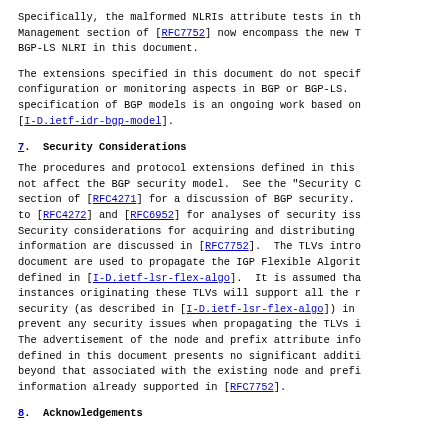Specifically, the malformed NLRIs attribute tests in th Management section of [RFC7752] now encompass the new T BGP-LS NLRI in this document.
The extensions specified in this document do not specif configuration or monitoring aspects in BGP or BGP-LS. specification of BGP models is an ongoing work based on [I-D.ietf-idr-bgp-model].
7.  Security Considerations
The procedures and protocol extensions defined in this not affect the BGP security model.  See the "Security C section of [RFC4271] for a discussion of BGP security. to [RFC4272] and [RFC6952] for analyses of security iss Security considerations for acquiring and distributing information are discussed in [RFC7752].  The TLVs intro document are used to propagate the IGP Flexible Algorit defined in [I-D.ietf-lsr-flex-algo].  It is assumed tha instances originating these TLVs will support all the r security (as described in [I-D.ietf-lsr-flex-algo]) in prevent any security issues when propagating the TLVs i The advertisement of the node and prefix attribute info defined in this document presents no significant additi beyond that associated with the existing node and prefi information already supported in [RFC7752].
8.  Acknowledgements